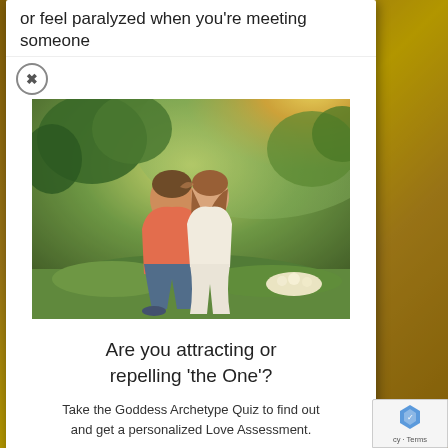or feel paralyzed when you're meeting someone
[Figure (photo): A couple sitting in a green outdoor setting, the man in a pink/red shirt and jeans, the woman in white, leaning toward each other intimately, with warm golden sunlight in the background.]
Are you attracting or repelling ‘the One’?
Take the Goddess Archetype Quiz to find out and get a personalized Love Assessment.